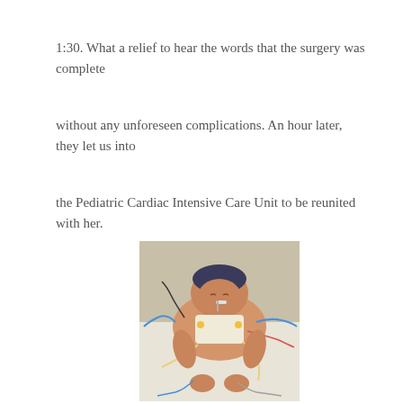1:30. What a relief to hear the words that the surgery was complete
without any unforeseen complications. An hour later, they let us into
the Pediatric Cardiac Intensive Care Unit to be reunited with her.
[Figure (photo): A newborn or infant in a hospital bed, connected to multiple medical tubes, wires, and monitoring equipment after cardiac surgery, wearing a small cap, with bandaging on the chest area.]